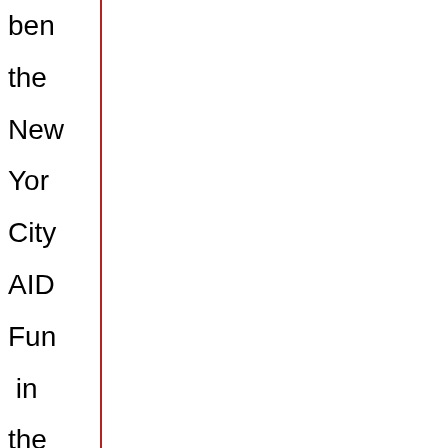ben the New York City AIDS Fund in the NY Community Trust Fa Night Out ce fas an